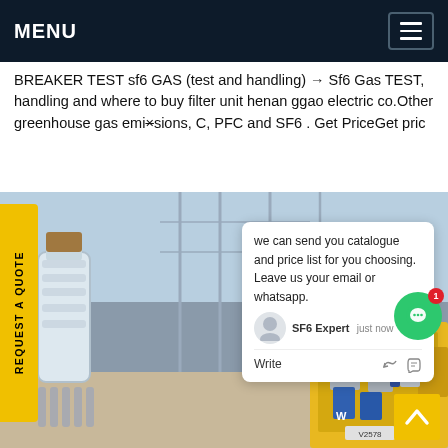MENU
BREAKER TEST sf6 GAS (test and handling) → Sf6 Gas TEST, handling and where to buy filter unit henan ggao electric co.Other greenhouse gas emissions, C, PFC and SF6 . Get PriceGet pric
[Figure (photo): Large electrical substation with high-voltage equipment, insulators, and power lines. In the foreground left is a large white pipe/bushing. On the right side is a yellow service truck/vehicle with workers and blue containers at a power substation site.]
we can send you catalogue and price list for you choosing. Leave us your email or whatsapp.
SF6 Expert   just now
Write